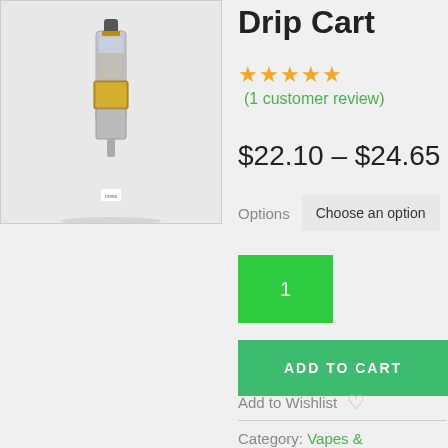[Figure (photo): Product photo of a Drip Cart vape cartridge with gold hardware on a light gray background]
Drip Cart
★★★★★ (1 customer review)
$22.10 – $24.65
Options   Choose an option
1
ADD TO CART
Add to Wishlist
Category: Vapes &